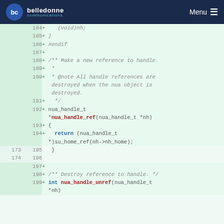belledonne communications — Menu
[Figure (screenshot): Code diff view showing lines 184-199 of a C source file with additions highlighted in green. Lines added include closing brace, #endif, a doxygen comment block for nua_handle_ref function, and int nua_handle_unref function declaration.]